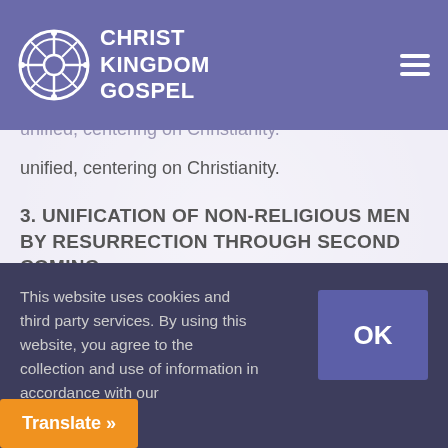[Figure (logo): Christ Kingdom Gospel logo with circular emblem and text]
belong to their religions and lead them to the Lord. spirit, cooperating with them to him for the accomplishment of the will of God. Therefore, all religions will finally be unified, centering on Christianity.
3. UNIFICATION OF NON-RELIGIOUS MEN BY RESURRECTION THROUGH SECOND COMING
The spirit men who in their lifetime did not believe
This website uses cookies and third party services. By using this website, you agree to the collection and use of information in accordance with our
OK
Translate »